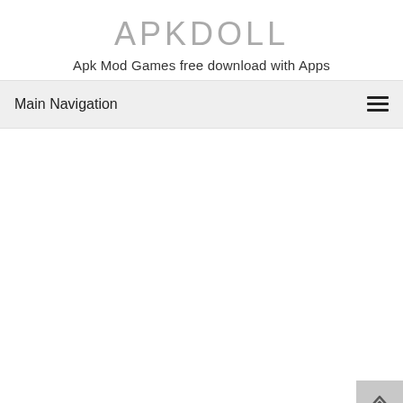APKDOLL
Apk Mod Games free download with Apps
Main Navigation
Hidden Relics: Art Detective